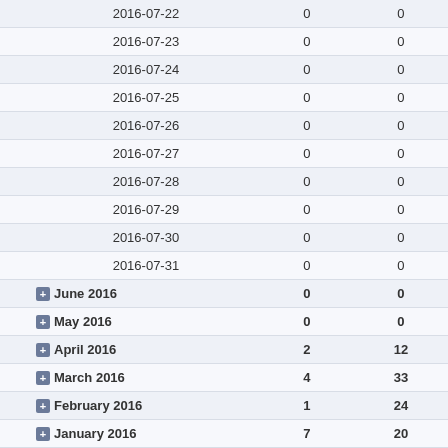| Date | Col2 | Col3 |
| --- | --- | --- |
| 2016-07-22 | 0 | 0 |
| 2016-07-23 | 0 | 0 |
| 2016-07-24 | 0 | 0 |
| 2016-07-25 | 0 | 0 |
| 2016-07-26 | 0 | 0 |
| 2016-07-27 | 0 | 0 |
| 2016-07-28 | 0 | 0 |
| 2016-07-29 | 0 | 0 |
| 2016-07-30 | 0 | 0 |
| 2016-07-31 | 0 | 0 |
| + June 2016 | 0 | 0 |
| + May 2016 | 0 | 0 |
| + April 2016 | 2 | 12 |
| + March 2016 | 4 | 33 |
| + February 2016 | 1 | 24 |
| + January 2016 | 7 | 20 |
| + 2015 | 40 | 252 |
| + 2014 | 64 | 328 |